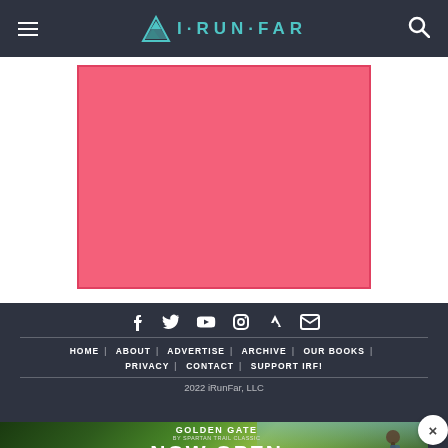iRunFar - navigation header with menu, logo, and search
[Figure (other): Pink/salmon colored advertisement placeholder box]
Social icons (Facebook, Twitter, YouTube, Instagram, Strava, Email) | HOME | ABOUT | ADVERTISE | ARCHIVE | OUR BOOKS | PRIVACY | CONTACT | SUPPORT IRF! | 2022 iRunFar, LLC
[Figure (other): Golden Gate by Spartan Trail Classic advertisement banner - NOW OPEN - SIGN UP button, with trail running scenic mountain background]